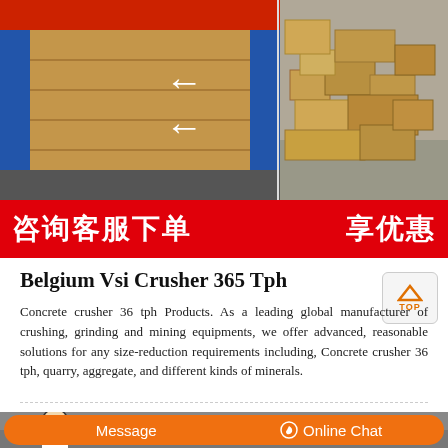[Figure (photo): Left panel shows a baler machine with red arrows indicating cardboard/waste materials being compressed. Right panel shows a pile of cardboard boxes outdoors.]
[Figure (infographic): Red banner with white Chinese text: 咨询客服下单 享优惠 (Consult customer service to order, enjoy discounts)]
Belgium Vsi Crusher 365 Tph
Concrete crusher 36 tph Products. As a leading global manufacturer of crushing, grinding and mining equipments, we offer advanced, reasonable solutions for any size-reduction requirements including, Concrete crusher 36 tph, quarry, aggregate, and different kinds of minerals.
[Figure (photo): Bottom portion showing customer service representative and orange chat bar with Message and Online Chat buttons]